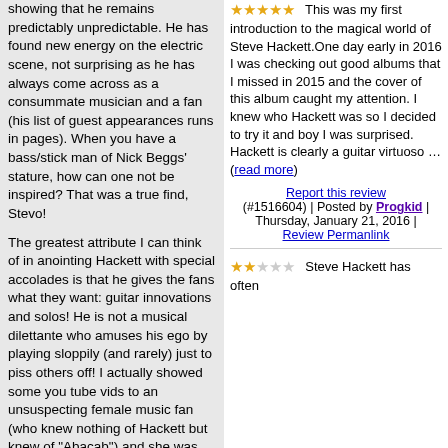showing that he remains predictably unpredictable. He has found new energy on the electric scene, not surprising as he has always come across as a consummate musician and a fan (his list of guest appearances runs in pages). When you have a bass/stick man of Nick Beggs' stature, how can one not be inspired? That was a true find, Stevo!
The greatest attribute I can think of in anointing Hackett with special accolades is that he gives the fans what they want: guitar innovations and solos! He is not a musical dilettante who amuses his ego by playing sloppily (and rarely) just to piss others off! I actually showed some you tube vids to an unsuspecting female music fan (who knew nothing of Hackett but knew of "Abacab") and she was shocked how great control and technique he displayed.
There are a few outright jewels here, from the title track to the exhilarating "Love Song to a Vampire", an
This was my first introduction to the magical world of Steve Hackett.One day early in 2016 I was checking out good albums that I missed in 2015 and the cover of this album caught my attention. I knew who Hackett was so I decided to try it and boy I was surprised. Hackett is clearly a guitar virtuoso ... (read more)
Report this review (#1516604) | Posted by Progkid | Thursday, January 21, 2016 | Review Permanlink
Steve Hackett has often